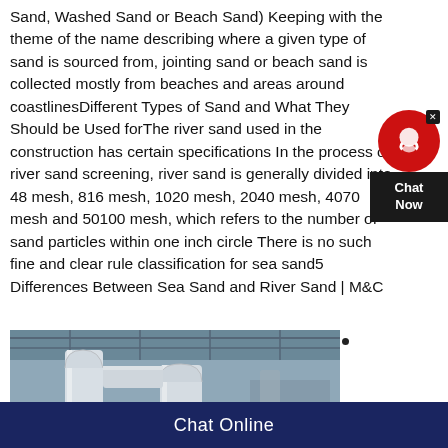Sand, Washed Sand or Beach Sand) Keeping with the theme of the name describing where a given type of sand is sourced from, jointing sand or beach sand is collected mostly from beaches and areas around coastlinesDifferent Types of Sand and What They Should be Used forThe river sand used in the construction has certain specifications In the process of river sand screening, river sand is generally divided into 48 mesh, 816 mesh, 1020 mesh, 2040 mesh, 4070 mesh and 50100 mesh, which refers to the number of sand particles within one inch circle There is no such fine and clear rule classification for sea sand5 Differences Between Sea Sand and River Sand | M&C
[Figure (photo): Industrial facility interior showing large white pipes/ducts in a warehouse or factory building with steel roof structure]
Chat Online